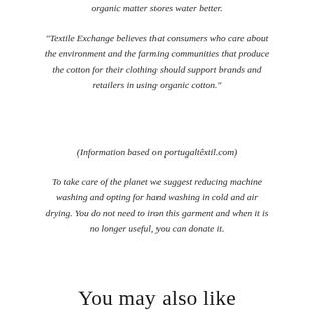organic matter stores water better.
"Textile Exchange believes that consumers who care about the environment and the farming communities that produce the cotton for their clothing should support brands and retailers in using organic cotton."
(Information based on portugaltêxtil.com)
To take care of the planet we suggest reducing machine washing and opting for hand washing in cold and air drying. You do not need to iron this garment and when it is no longer useful, you can donate it.
You may also like